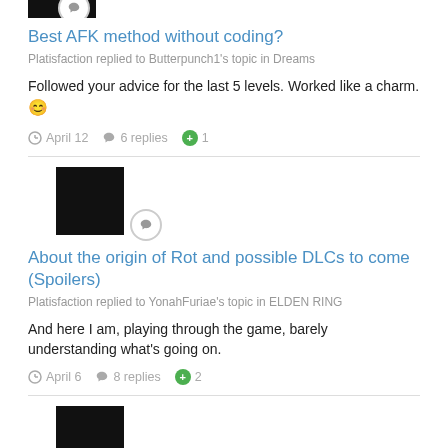[Figure (other): User avatar thumbnail partially visible at top, with speech bubble badge overlay]
Best AFK method without coding?
Platisfaction replied to Butterpunch1's topic in Dreams
Followed your advice for the last 5 levels. Worked like a charm. 😊
April 12   6 replies   +1
[Figure (other): Dark game screenshot avatar with speech bubble badge]
About the origin of Rot and possible DLCs to come (Spoilers)
Platisfaction replied to YonahFuriae's topic in ELDEN RING
And here I am, playing through the game, barely understanding what's going on.
April 6   8 replies   +2
[Figure (other): Dark game screenshot avatar with speech bubble badge]
Help for those that are stuck!